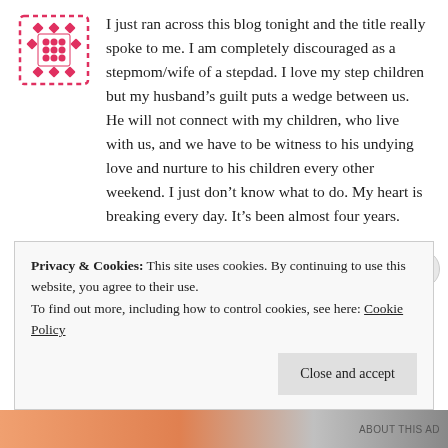I just ran across this blog tonight and the title really spoke to me. I am completely discouraged as a stepmom/wife of a stepdad. I love my step children but my husband's guilt puts a wedge between us. He will not connect with my children, who live with us, and we have to be witness to his undying love and nurture to his children every other weekend. I just don't know what to do. My heart is breaking every day. It's been almost four years.
Privacy & Cookies: This site uses cookies. By continuing to use this website, you agree to their use.
To find out more, including how to control cookies, see here: Cookie Policy